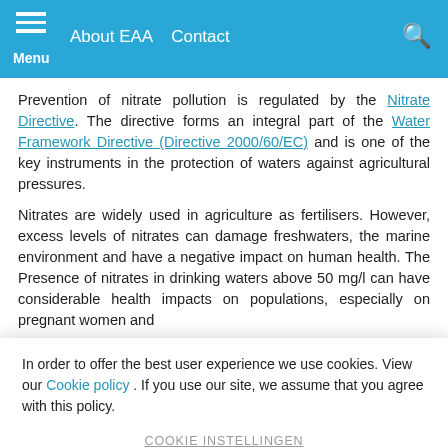Menu  About EAA  Contact
Prevention of nitrate pollution is regulated by the Nitrate Directive. The directive forms an integral part of the Water Framework Directive (Directive 2000/60/EC) and is one of the key instruments in the protection of waters against agricultural pressures.
Nitrates are widely used in agriculture as fertilisers. However, excess levels of nitrates can damage freshwaters, the marine environment and have a negative impact on human health. The Presence of nitrates in drinking waters above 50 mg/l can have considerable health impacts on populations, especially on pregnant women and
In order to offer the best user experience we use cookies. View our Cookie policy . If you use our site, we assume that you agree with this policy.
COOKIE INSTELLINGEN
ACCEPTEER COOKIES
Bottom areas with a total depletion in the level of oxygen have